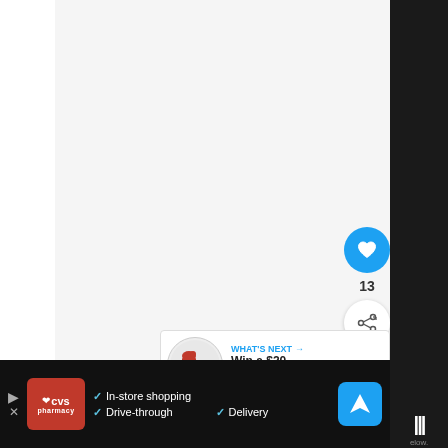[Figure (screenshot): Web page screenshot showing a light gray content area with social interaction buttons (heart/like button in blue, like count showing 13, share button), a 'What's Next' panel showing a PETCO promotion ('Win a $20 PETCO OR...'), and a bottom advertisement bar for CVS Pharmacy showing 'In-store shopping', 'Drive-through', and 'Delivery' options with navigation icons. Right side has a dark panel with logo marks.]
13
WHAT'S NEXT → Win a $20 PETCO OR...
In-store shopping
Drive-through
Delivery